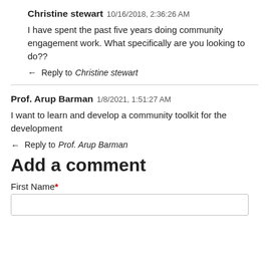Christine stewart 10/16/2018, 2:36:26 AM
I have spent the past five years doing community engagement work. What specifically are you looking to do??
← Reply to Christine stewart
Prof. Arup Barman 1/8/2021, 1:51:27 AM
I want to learn and develop a community toolkit for the development
← Reply to Prof. Arup Barman
Add a comment
First Name*